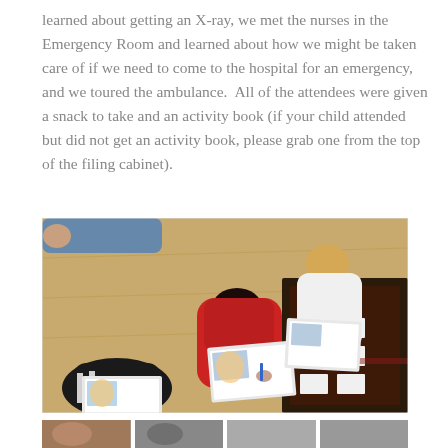learned about getting an X-ray, we met the nurses in the Emergency Room and learned about how we might be taken care of if we need to come to the hospital for an emergency, and we toured the ambulance.  All of the attendees were given a snack to take and an activity book (if your child attended but did not get an activity book, please grab one from the top of the filing cabinet).
[Figure (photo): Children lying on a hardwood floor coloring activity book pages. One child in a red jacket with dark hair is in the center, another younger child is in the foreground on the left, and a blonde girl in a white shirt is on the right side. A decorative patterned rug is visible on the right edge of the photo.]
[Figure (photo): Partial strip of smaller photos at the bottom of the page, partially cut off.]